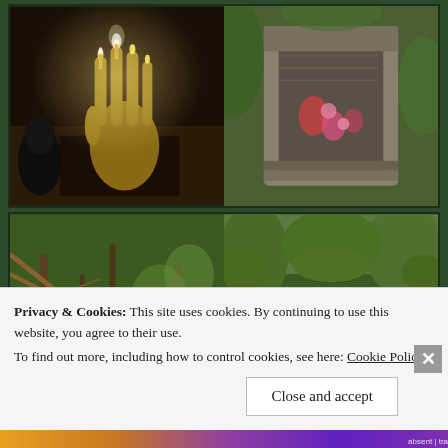[Figure (photo): Top-left photo: a golden hand-shaped candelabra with lit candles on a dark wooden surface, dark background]
[Figure (photo): Top-right photo: a mossy stone alcove or niche with carved inscriptions, surrounded by green foliage, with red and pink offerings]
[Figure (photo): Bottom-left photo: a wooded forest scene with green undergrowth, thin trees and bare branches]
[Figure (photo): Bottom-right photo: a rocky shallow stream or riverbed with stones, surrounded by lush green vegetation and a dirt path]
Privacy & Cookies: This site uses cookies. By continuing to use this website, you agree to their use. To find out more, including how to control cookies, see here: Cookie Policy
Close and accept